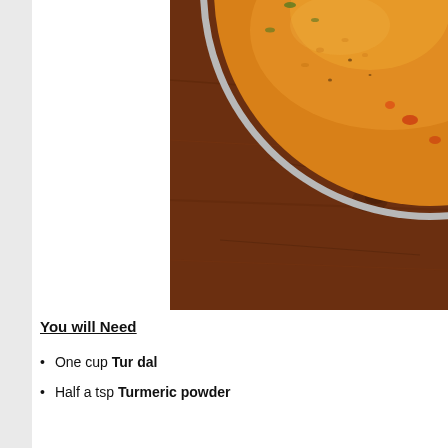[Figure (photo): Top-down photo of a metal bowl containing yellow-orange dal (lentil soup) with visible spices and tomato pieces, placed on a dark brown wooden surface. Only the top portion of the bowl is visible.]
You will Need
One cup Tur dal
Half a tsp Turmeric powder